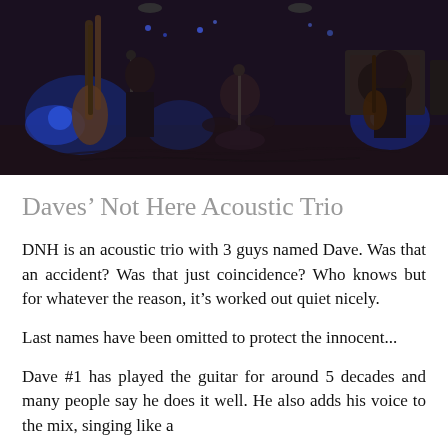[Figure (photo): Band photo showing musicians on stage with guitars, bass, and drums in a dimly lit venue with blue stage lighting and equipment visible in the background.]
Daves' Not Here Acoustic Trio
DNH is an acoustic trio with 3 guys named Dave. Was that an accident? Was that just coincidence? Who knows but for whatever the reason, it's worked out quiet nicely.
Last names have been omitted to protect the innocent...
Dave #1 has played the guitar for around 5 decades and many people say he does it well. He also adds his voice to the mix, singing like a